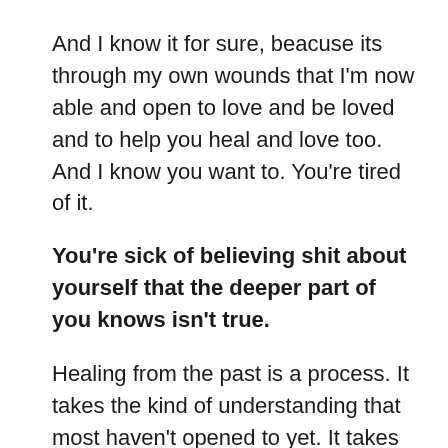And I know it for sure, beacuse its through my own wounds that I'm now able and open to love and be loved and to help you heal and love too.  And I know you want to. You're tired of it.
You're sick of believing shit about yourself that the deeper part of you knows isn't true.
Healing from the past is a process. It takes the kind of understanding that most haven't opened to yet.  It takes the kind of